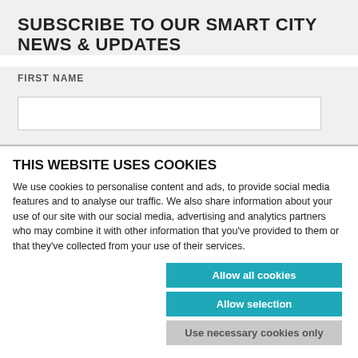SUBSCRIBE TO OUR SMART CITY NEWS & UPDATES
FIRST NAME
THIS WEBSITE USES COOKIES
We use cookies to personalise content and ads, to provide social media features and to analyse our traffic. We also share information about your use of our site with our social media, advertising and analytics partners who may combine it with other information that you've provided to them or that they've collected from your use of their services.
Allow all cookies
Allow selection
Use necessary cookies only
NECESSARY  PREFERENCES  STATISTICS  MARKETING  Show details